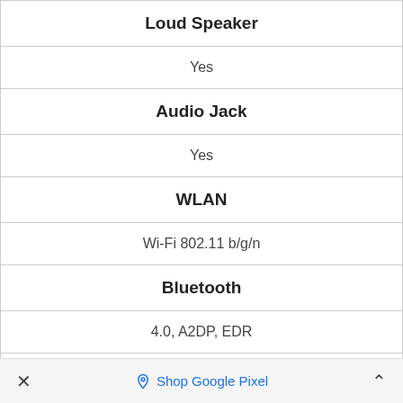| Loud Speaker |
| Yes |
| Audio Jack |
| Yes |
| WLAN |
| Wi-Fi 802.11 b/g/n |
| Bluetooth |
| 4.0, A2DP, EDR |
| GPS |
✕   Shop Google Pixel   ∧